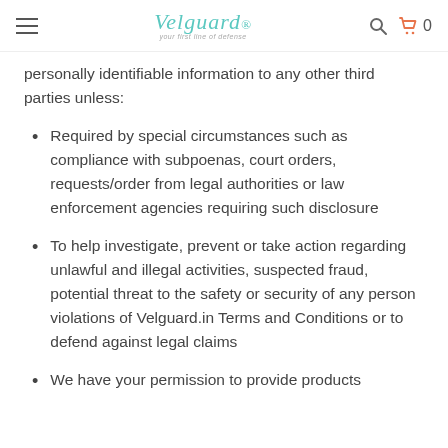Velguard
personally identifiable information to any other third parties unless:
Required by special circumstances such as compliance with subpoenas, court orders, requests/order from legal authorities or law enforcement agencies requiring such disclosure
To help investigate, prevent or take action regarding unlawful and illegal activities, suspected fraud, potential threat to the safety or security of any person violations of Velguard.in Terms and Conditions or to defend against legal claims
We have your permission to provide products